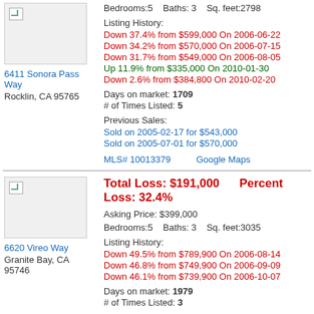[Figure (photo): Property photo placeholder for 6411 Sonora Pass Way]
6411 Sonora Pass Way
Rocklin, CA 95765
Bedrooms:5    Baths: 3    Sq. feet:2798
Listing History:
Down 37.4% from $599,000 On 2006-06-22
Down 34.2% from $570,000 On 2006-07-15
Down 31.7% from $549,000 On 2006-08-05
Up 11.9% from $335,000 On 2010-01-30
Down 2.6% from $384,800 On 2010-02-20
Days on market: 1709
# of Times Listed: 5
Previous Sales:
Sold on 2005-02-17 for $543,000
Sold on 2005-07-01 for $570,000
MLS# 10013379    Google Maps
[Figure (photo): Property photo placeholder for 6620 Vireo Way]
Total Loss: $191,000    Percent Loss: 32.4%
Asking Price: $399,000
Bedrooms:5    Baths: 3    Sq. feet:3035
6620 Vireo Way
Granite Bay, CA 95746
Listing History:
Down 49.5% from $789,900 On 2006-08-14
Down 46.8% from $749,900 On 2006-09-09
Down 46.1% from $739,900 On 2006-10-07
Days on market: 1979
# of Times Listed: 3
Previous Sales:
Sold on 2004-10-04 for $590,000